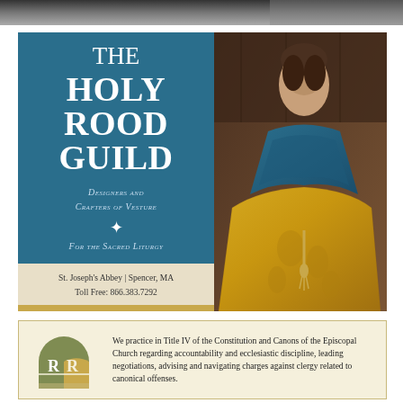[Figure (photo): Top banner image, dark tones]
[Figure (illustration): Holy Rood Guild advertisement with blue panel showing THE HOLY ROOD GUILD text, subtitle Designers and Crafters of Vesture For the Sacred Liturgy, contact info St. Joseph's Abbey | Spencer, MA, Toll Free: 866.383.7292, holyroodguild.com, and photo of priest in gold vestments on right side]
[Figure (illustration): Law firm advertisement with cream background, RR logo in green and gold, text about Title IV canonical practice]